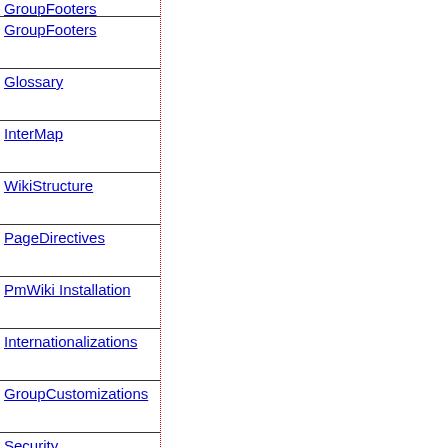GroupFooters
Glossary
InterMap
WikiStructure
PageDirectives
PmWiki Installation
Internationalizations
GroupCustomizations
Security